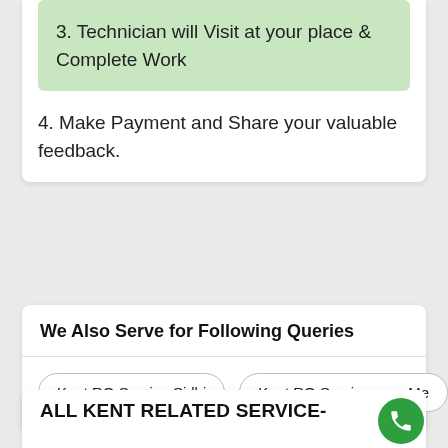3. Technician will Visit at your place & Complete Work
4. Make Payment and Share your valuable feedback.
We Also Serve for Following Queries
Kent RO Service Sidhi
Kent RO Service near Me
ALL KENT RELATED SERVICE-